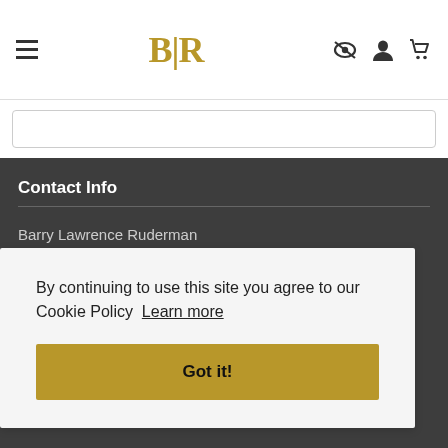BLR — Barry Lawrence Ruderman Antique Maps
[Figure (logo): BLR logo in gold serif font with hamburger menu icon and navigation icons (eye-hidden, user, cart)]
Contact Info
Barry Lawrence Ruderman Antique Maps Inc.
7407 La Jolla Boulevard
By continuing to use this site you agree to our Cookie Policy  Learn more
Got it!